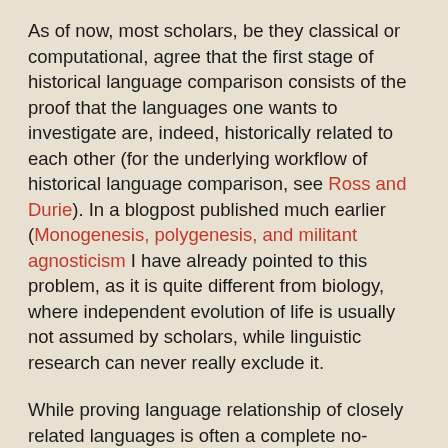As of now, most scholars, be they classical or computational, agree that the first stage of historical language comparison consists of the proof that the languages one wants to investigate are, indeed, historically related to each other (for the underlying workflow of historical language comparison, see Ross and Durie). In a blogpost published much earlier (Monogenesis, polygenesis, and militant agnosticism I have already pointed to this problem, as it is quite different from biology, where independent evolution of life is usually not assumed by scholars, while linguistic research can never really exclude it.
While proving language relationship of closely related languages is often a complete no-brainer, it becomes especially then hard, when exceeding some critical time depth. Where this time depth lies is not clear by now, but based on our observations regarding the paste in which languages replace existing words with new ones, borrow words, or loose and build grammatical structures, it is clear that it is theoretically possible that a language group could have lost all hints on its ancestry after 5,000 to 10,000 years. Luckily, what is theoretically possible for one language, does